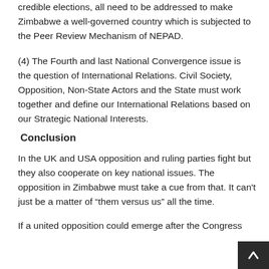credible elections, all need to be addressed to make Zimbabwe a well-governed country which is subjected to the Peer Review Mechanism of NEPAD.
(4) The Fourth and last National Convergence issue is the question of International Relations. Civil Society, Opposition, Non-State Actors and the State must work together and define our International Relations based on our Strategic National Interests.
Conclusion
In the UK and USA opposition and ruling parties fight but they also cooperate on key national issues. The opposition in Zimbabwe must take a cue from that. It can't just be a matter of “them versus us” all the time.
If a united opposition could emerge after the Congress